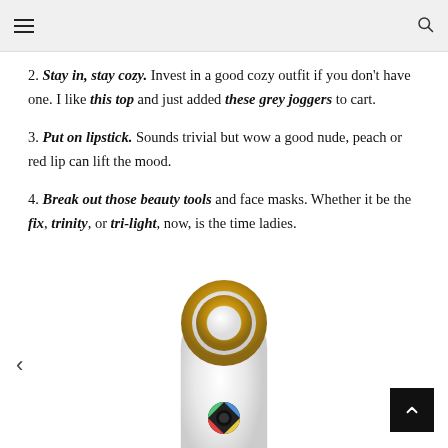Navigation header with hamburger menu and search icon
2. Stay in, stay cozy. Invest in a good cozy outfit if you don't have one. I like this top and just added these grey joggers to cart.
3. Put on lipstick. Sounds trivial but wow a good nude, peach or red lip can lift the mood.
4. Break out those beauty tools and face masks. Whether it be the fix, trinity, or tri-light, now, is the time ladies.
[Figure (photo): White beauty device (NuFace or similar facial tool) with gold ring and circular top element, shown from above on white background]